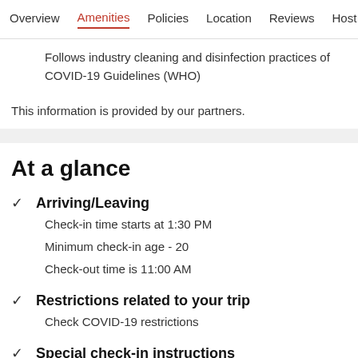Overview  Amenities  Policies  Location  Reviews  Host
Follows industry cleaning and disinfection practices of COVID-19 Guidelines (WHO)
This information is provided by our partners.
At a glance
Arriving/Leaving
Check-in time starts at 1:30 PM
Minimum check-in age - 20
Check-out time is 11:00 AM
Restrictions related to your trip
Check COVID-19 restrictions
Special check-in instructions